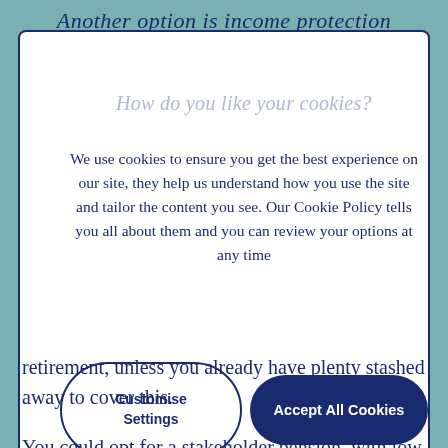Another option is income protection
How do you like your cookies?
We use cookies to ensure you get the best experience on our site, they help us understand how you use the site and tailor the content you see. Our Cookie Policy tells you all about them and you can review your options at any time
Customise Settings
Accept All Cookies
retirement, unless you already have plenty stashed away to cover this.
You could opt for a stakeholder pension, with low charges, or a self-invested